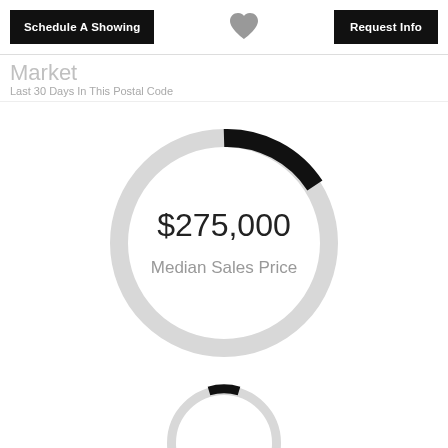Schedule A Showing | [heart] | Request Info
Market
Last 30 Days In This Postal Code
[Figure (donut-chart): Median Sales Price]
[Figure (donut-chart): Partial donut chart, bottom cropped]